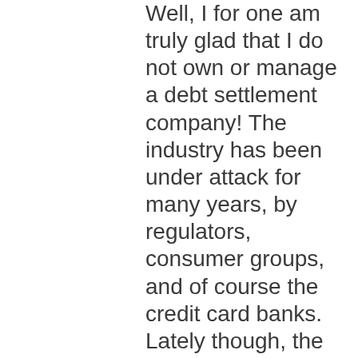Well, I for one am truly glad that I do not own or manage a debt settlement company! The industry has been under attack for many years, by regulators, consumer groups, and of course the credit card banks. Lately though, the bad news for the industry just keeps coming thick and fast.

The New York Times recently published an article that essentially describes the entire industry as being for...